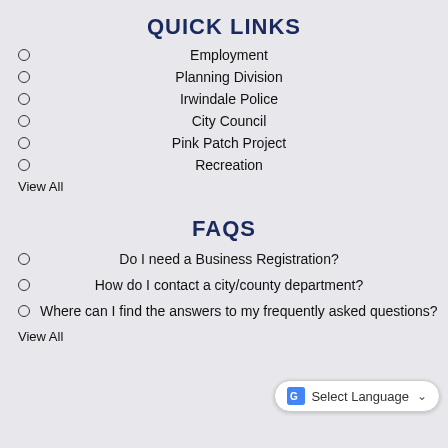QUICK LINKS
Employment
Planning Division
Irwindale Police
City Council
Pink Patch Project
Recreation
View All
FAQS
Do I need a Business Registration?
How do I contact a city/county department?
Where can I find the answers to my frequently asked questions?
View All